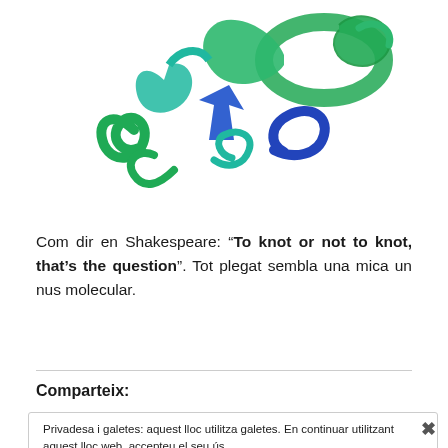[Figure (illustration): 3D molecular protein structure rendered in green and blue ribbons/helices with beta-sheets, showing a complex knotted protein fold on a white background.]
Com dir en Shakespeare: “To knot or not to knot, that’s the question”. Tot plegat sembla una mica un nus molecular.
Comparteix:
Privadesa i galetes: aquest lloc utilitza galetes. En continuar utilitzant aquest lloc web, accepteu el seu ús.
Per a obtenir més informació, inclòs com controlar les galetes, mireu aquí: Política de galetes